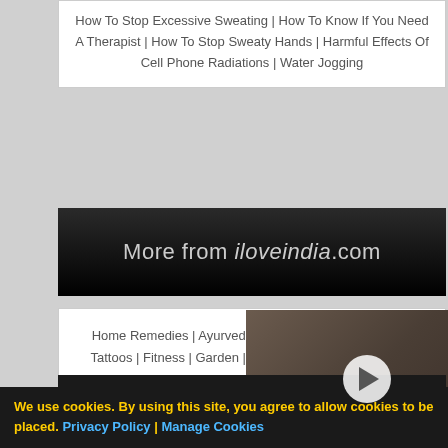How To Stop Excessive Sweating | How To Know If You Need A Therapist | How To Stop Sweaty Hands | Harmful Effects Of Cell Phone Radiations | Water Jogging
More from iloveindia.com
Home Remedies | Ayurveda | Vastu | Yoga | Feng Shui | Tattoos | Fitness | Garden | Nutrition | Parenting | Bikes | Cars | Baby Care | Indian Weddings | Festivals | Party ideas | Horoscope 2015 | Pets | Finance | Figures of Speech | Hotels in India : Delhi | Hyderabad | Chennai | Mu... | National... | Ahmedabad...
[Figure (screenshot): Video player overlay showing a fantasy character with long white hair against a dark stone background, with a circular play button in the center and a close (X) button in the top-right corner]
Contact Us  Careers  Disc...  Advertise With Us  Lifest...
We use cookies. By using this site, you agree to allow cookies to be placed. Privacy Policy | Manage Cookies